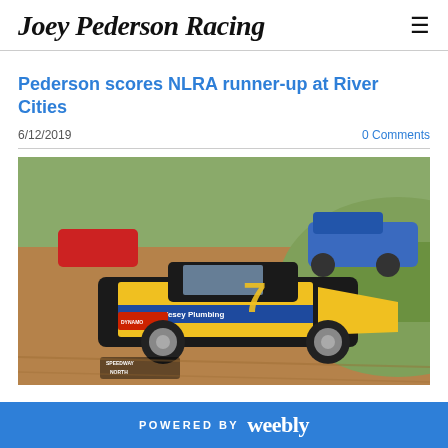Joey Pederson Racing
Pederson scores NLRA runner-up at River Cities
6/12/2019
0 Comments
[Figure (photo): A yellow and black late model dirt racing car #7 with Vesey Plumbing and Dynamo sponsorship logos racing on a dirt track, with other race cars visible in the background.]
POWERED BY weebly